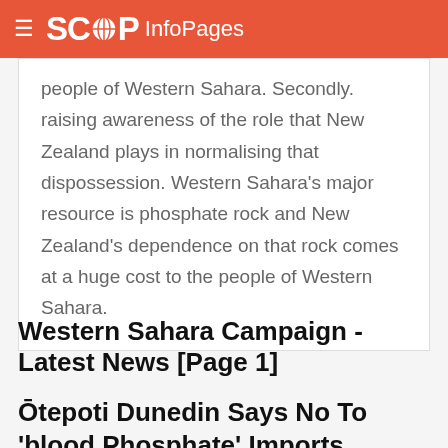SCOOP InfoPages
people of Western Sahara. Secondly. raising awareness of the role that New Zealand plays in normalising that dispossession. Western Sahara's major resource is phosphate rock and New Zealand's dependence on that rock comes at a huge cost to the people of Western Sahara.
Western Sahara Campaign - Latest News [Page 1]
Ōtepoti Dunedin Says No To 'blood Phosphate' Imports